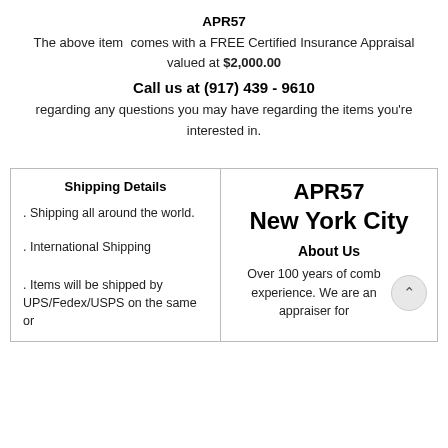APR57
The above item comes with a FREE Certified Insurance Appraisal valued at $2,000.00
Call us at (917) 439 - 9610
regarding any questions you may have regarding the items you're interested in.
Shipping Details
. Shipping all around the world.
. International Shipping
. Items will be shipped by UPS/Fedex/USPS on the same or
APR57
New York City
About Us
Over 100 years of comb experience. We are an appraiser for